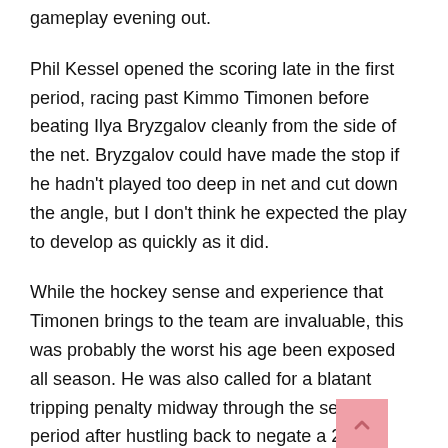gameplay evening out.
Phil Kessel opened the scoring late in the first period, racing past Kimmo Timonen before beating Ilya Bryzgalov cleanly from the side of the net. Bryzgalov could have made the stop if he hadn't played too deep in net and cut down the angle, but I don't think he expected the play to develop as quickly as it did.
While the hockey sense and experience that Timonen brings to the team are invaluable, this was probably the worst his age been exposed all season. He was also called for a blatant tripping penalty midway through the second period after hustling back to negate a 2-on-1.
The powerplay continued to stumble through the second